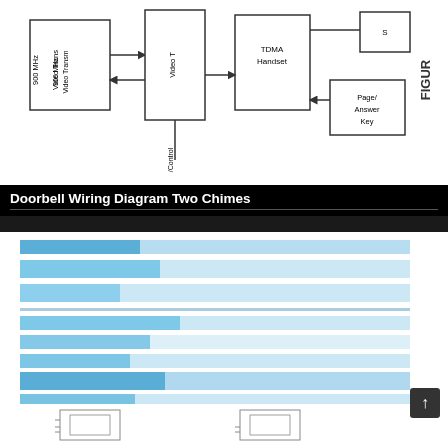[Figure (schematic): Partial view of a wiring/block diagram showing 900 MHz Video Transmitter, Video T[ransmitter], TDMA Handset, Page/Answer Key, and /Control connections with arrows between blocks. 'FIGUR[E]' label visible on right side.]
Doorbell Wiring Diagram Two Chimes
[Figure (schematic): Partially visible table or spreadsheet-like diagram with blue-shaded rows (appears to be a wiring or connection chart with horizontal band rows in light blue). Below the rows are partial images of two doorbell/chime unit diagrams.]